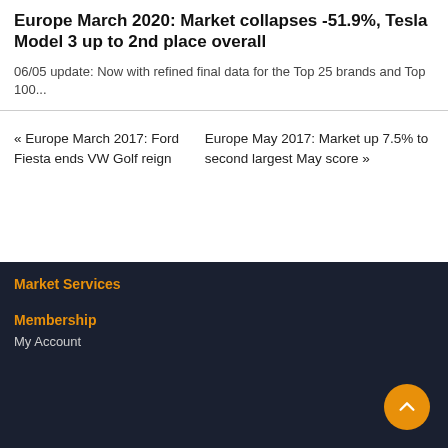Europe March 2020: Market collapses -51.9%, Tesla Model 3 up to 2nd place overall
06/05 update: Now with refined final data for the Top 25 brands and Top 100...
« Europe March 2017: Ford Fiesta ends VW Golf reign
Europe May 2017: Market up 7.5% to second largest May score »
Market Services
Membership
My Account